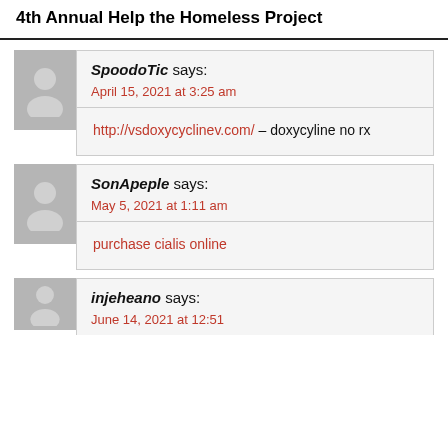4th Annual Help the Homeless Project
SpoodoTic says:
April 15, 2021 at 3:25 am
http://vsdoxycyclinev.com/ – doxycyline no rx
SonApeple says:
May 5, 2021 at 1:11 am
purchase cialis online
injeheano says:
June 14, 2021 at 12:51